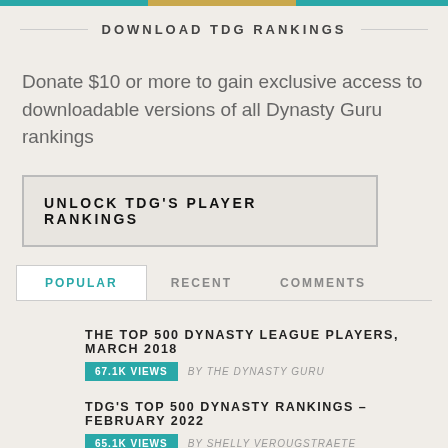DOWNLOAD TDG RANKINGS
Donate $10 or more to gain exclusive access to downloadable versions of all Dynasty Guru rankings
UNLOCK TDG'S PLAYER RANKINGS
POPULAR
RECENT
COMMENTS
THE TOP 500 DYNASTY LEAGUE PLAYERS, MARCH 2018
67.1K VIEWS   BY THE DYNASTY GURU
TDG'S TOP 500 DYNASTY RANKINGS – FEBRUARY 2022
65.1K VIEWS   BY SHELLY VEROUGSTRAETE